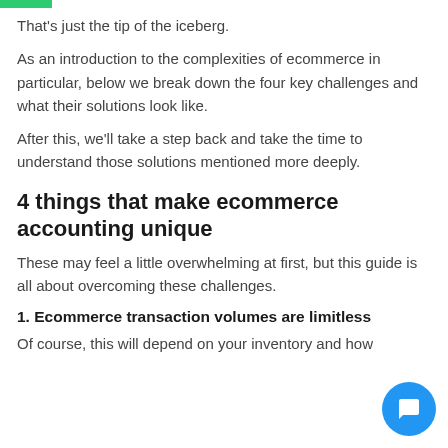That’s just the tip of the iceberg.
As an introduction to the complexities of ecommerce in particular, below we break down the four key challenges and what their solutions look like.
After this, we’ll take a step back and take the time to understand those solutions mentioned more deeply.
4 things that make ecommerce accounting unique
These may feel a little overwhelming at first, but this guide is all about overcoming these challenges.
1. Ecommerce transaction volumes are limitless
Of course, this will depend on your inventory and how